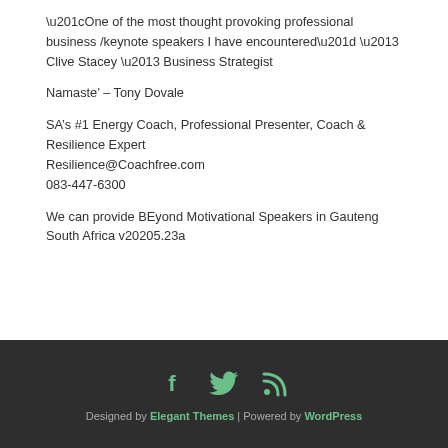“One of the most thought provoking professional business /keynote speakers I have encountered” – Clive Stacey – Business Strategist
Namaste’ – Tony Dovale
SA’s #1 Energy Coach, Professional Presenter, Coach & Resilience Expert
Resilience@Coachfree.com
083-447-6300
We can provide BEyond Motivational Speakers in Gauteng South Africa v20205.23a
Designed by Elegant Themes | Powered by WordPress